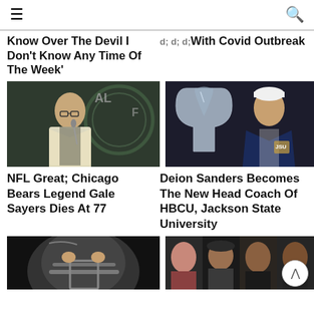≡  [hamburger menu] [search icon]
Know Over The Devil I Don't Know Any Time Of The Week'
With Covid Outbreak
[Figure (photo): Man in white blazer speaking at podium in front of a seal/logo backdrop]
[Figure (photo): Deion Sanders in navy suit standing next to large trophy/balloon number]
NFL Great; Chicago Bears Legend Gale Sayers Dies At 77
Deion Sanders Becomes The New Head Coach Of HBCU, Jackson State University
[Figure (photo): Football player wearing helmet, close up]
[Figure (photo): Collage of four people's headshots]